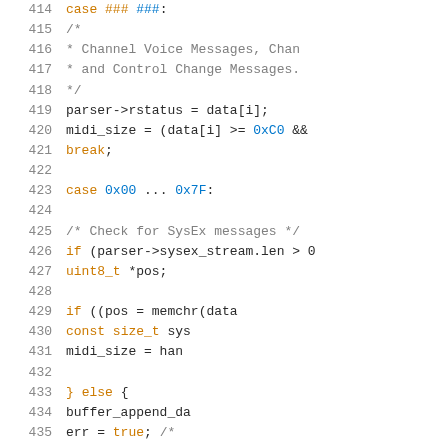[Figure (screenshot): Source code listing showing lines 415-435 of a C program implementing MIDI parser logic, with syntax highlighting. Lines include block comments about Channel Voice Messages and Control Change Messages, parser->rstatus assignment, midi_size calculation, break statement, case 0x00...0x7F label, SysEx message check with if statement, uint8_t pointer, memchr call, const size_t, midi_size handler, else block with buffer_append_da and err=true.]